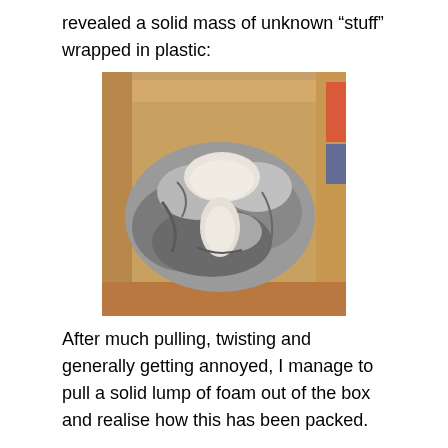revealed a solid mass of unknown “stuff” wrapped in plastic:
[Figure (photo): A cardboard box containing a large mass of silver/metallic plastic wrapping with patches of white foam visible, viewed from above.]
After much pulling, twisting and generally getting annoyed, I manage to pull a solid lump of foam out of the box and realise how this has been packed.
There’s a bottom layer of polystyrene chips, about 2″ deep, with the electronics on top (which had been wrapped in bags in big bubble wrap). Then, there’s a plastic liner, which has been filled with expanding foam